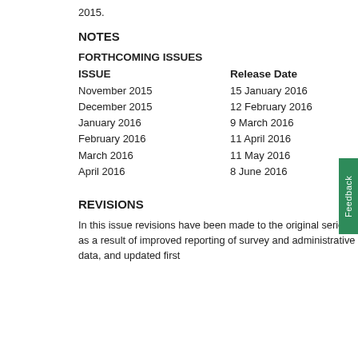2015.
NOTES
FORTHCOMING ISSUES
| ISSUE | Release Date |
| --- | --- |
| November 2015 | 15 January 2016 |
| December 2015 | 12 February 2016 |
| January 2016 | 9 March 2016 |
| February 2016 | 11 April 2016 |
| March 2016 | 11 May 2016 |
| April 2016 | 8 June 2016 |
REVISIONS
In this issue revisions have been made to the original series as a result of improved reporting of survey and administrative data, and updated first